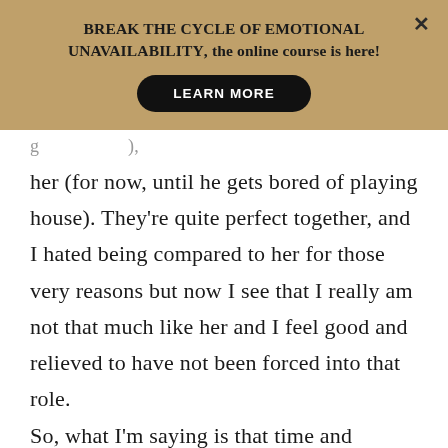BREAK THE CYCLE OF EMOTIONAL UNAVAILABILITY, the online course is here!
LEARN MORE
g ),
her (for now, until he gets bored of playing house). They're quite perfect together, and I hated being compared to her for those very reasons but now I see that I really am not that much like her and I feel good and relieved to have not been forced into that role.
So, what I'm saying is that time and